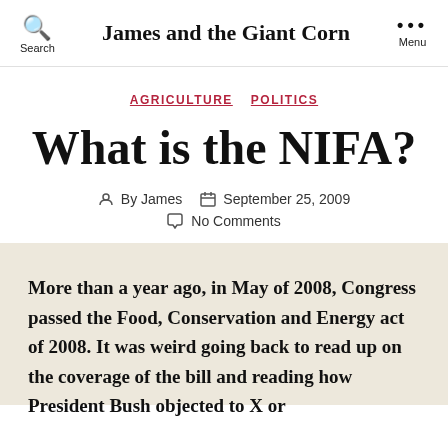James and the Giant Corn
AGRICULTURE  POLITICS
What is the NIFA?
By James  September 25, 2009  No Comments
More than a year ago, in May of 2008, Congress passed the Food, Conservation and Energy act of 2008. It was weird going back to read up on the coverage of the bill and reading how President Bush objected to X or